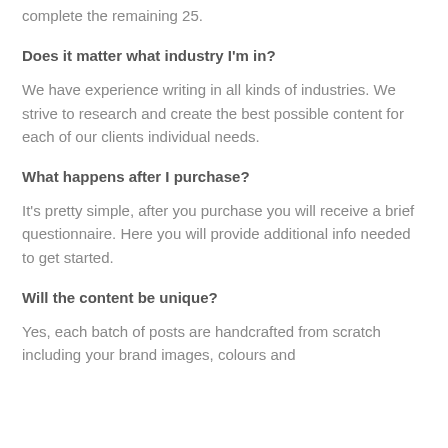complete the remaining 25.
Does it matter what industry I'm in?
We have experience writing in all kinds of industries. We strive to research and create the best possible content for each of our clients individual needs.
What happens after I purchase?
It's pretty simple, after you purchase you will receive a brief questionnaire. Here you will provide additional info needed to get started.
Will the content be unique?
Yes, each batch of posts are handcrafted from scratch including your brand images, colours and